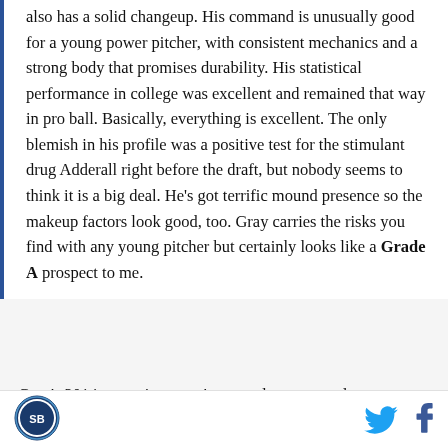also has a solid changeup. His command is unusually good for a young power pitcher, with consistent mechanics and a strong body that promises durability. His statistical performance in college was excellent and remained that way in pro ball. Basically, everything is excellent. The only blemish in his profile was a positive test for the stimulant drug Adderall right before the draft, but nobody seems to think it is a big deal. He's got terrific mound presence so the makeup factors look good, too. Gray carries the risks you find with any young pitcher but certainly looks like a Grade A prospect to me.
Gray's 2014 campaign wasn't as good as expected
[Figure (logo): Circular sports logo with blue border]